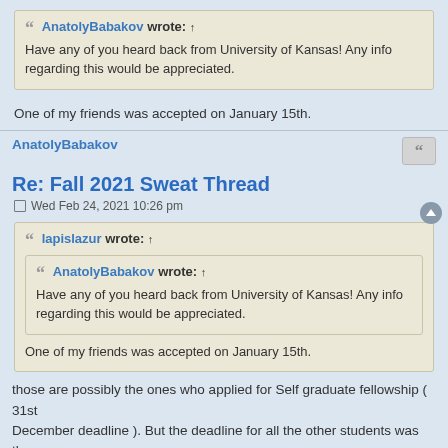AnatolyBabakov wrote: ↑
Have any of you heard back from University of Kansas! Any info regarding this would be appreciated.
One of my friends was accepted on January 15th.
AnatolyBabakov
Re: Fall 2021 Sweat Thread
Wed Feb 24, 2021 10:26 pm
lapislazur wrote: ↑
AnatolyBabakov wrote: ↑
Have any of you heard back from University of Kansas! Any info regarding this would be appreciated.
One of my friends was accepted on January 15th.
those are possibly the ones who applied for Self graduate fellowship ( 31st December deadline ). But the deadline for all the other students was the